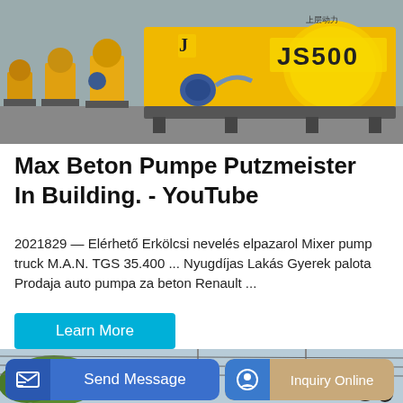[Figure (photo): Row of yellow JS500 concrete mixer machines in a factory setting]
Max Beton Pumpe Putzmeister In Building. - YouTube
2021829 — Elérhető Erkölcsi nevelés elpazarol Mixer pump truck M.A.N. TGS 35.400 ... Nyugdíjas Lakás Gyerek palota Prodaja auto pumpa za beton Renault ...
[Figure (photo): Outdoor scene with power lines, trees and partial machinery visible at bottom]
Send Message   Inquiry Online